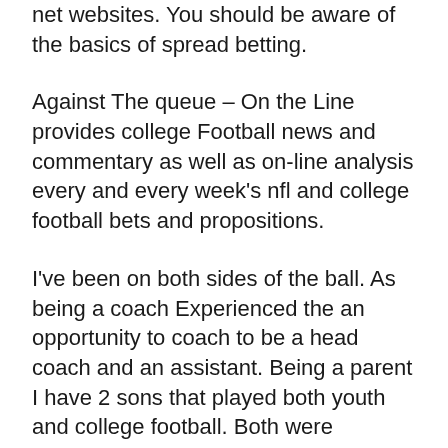net websites. You should be aware of the basics of spread betting.
Against The queue – On the Line provides college Football news and commentary as well as on-line analysis every and every week's nfl and college football bets and propositions.
I've been on both sides of the ball. As being a coach Experienced the an opportunity to coach to be a head coach and an assistant. Being a parent I have 2 sons that played both youth and college football. Both were average players. Knowing my place as a dad or mom AND for a coach helped me to get through some difficult parenting time.